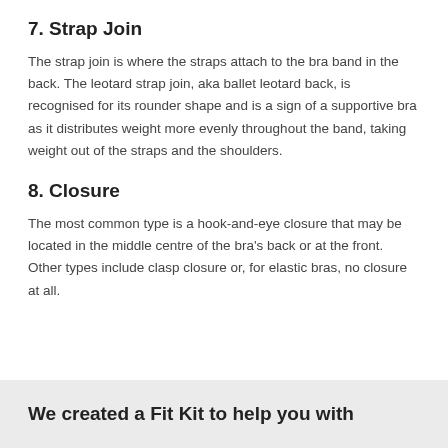7. Strap Join
The strap join is where the straps attach to the bra band in the back. The leotard strap join, aka ballet leotard back, is recognised for its rounder shape and is a sign of a supportive bra as it distributes weight more evenly throughout the band, taking weight out of the straps and the shoulders.
8. Closure
The most common type is a hook-and-eye closure that may be located in the middle centre of the bra's back or at the front. Other types include clasp closure or, for elastic bras, no closure at all.
We created a Fit Kit to help you with